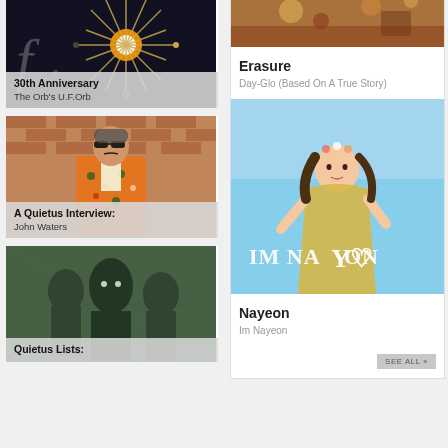[Figure (photo): Abstract starburst/orb light fixture photo on dark background]
30th Anniversary
The Orb's U.F.Orb
[Figure (photo): John Waters in colorful floral blazer against brick wall]
A Quietus Interview:
John Waters
[Figure (photo): Black and white vintage photo of costumed figures]
Quietus Lists:
[Figure (photo): Erasure album cover - Day-Glo Based On A True Story, warm tones with decorative objects]
Erasure
Day-Glo (Based On A True Story)
[Figure (photo): Im Nayeon album cover - blue sky background with female artist in yellow dress]
Nayeon
Im Nayeon